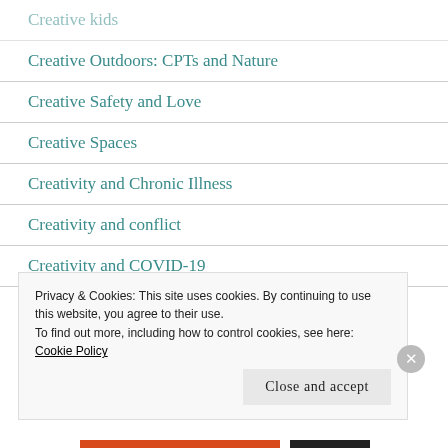Creative kids
Creative Outdoors: CPTs and Nature
Creative Safety and Love
Creative Spaces
Creativity and Chronic Illness
Creativity and conflict
Creativity and COVID-19
Creativity during elections and...
Privacy & Cookies: This site uses cookies. By continuing to use this website, you agree to their use.
To find out more, including how to control cookies, see here: Cookie Policy
Close and accept